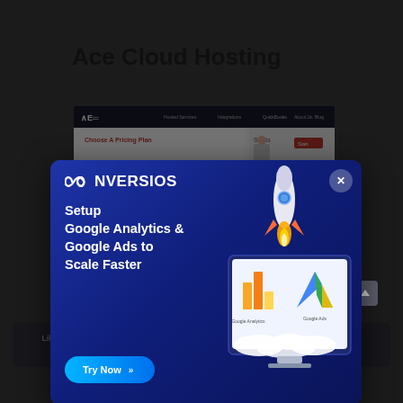Ace Cloud Hosting
[Figure (screenshot): Screenshot of Ace Cloud Hosting website showing navigation bar and pricing plan section]
[Figure (other): Conversios popup modal/advertisement overlay: dark blue gradient background, Conversios logo at top left, headline 'Setup Google Analytics & Google Ads to Scale Faster', a 'Try Now >>' button, and an illustration of a monitor showing Google Analytics and Google Ads logos with a rocket launching from it. An X close button in the top right corner.]
application hosting. It provides its hosting services for tax software,
Like every other site, this one uses cookies too. Read the fine print to learn more. By continuing to browse, you agree to our use of cookies.
hosting also offers a 24/7/365 strong...